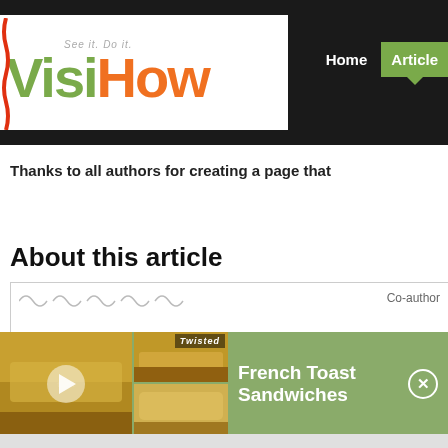[Figure (logo): VisiHow logo with tagline 'See it. Do it.' in green and orange text on white background]
Home   Articles
Thanks to all authors for creating a page that
About this article
Co-author
[Figure (photo): Advertisement overlay showing French Toast Sandwiches video with Twisted branding, food images on left and close button on right]